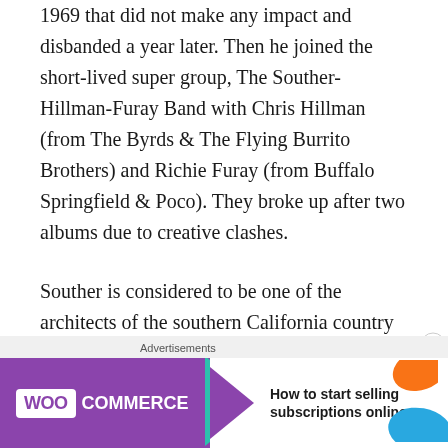1969 that did not make any impact and disbanded a year later. Then he joined the short-lived super group, The Souther-Hillman-Furay Band with Chris Hillman (from The Byrds & The Flying Burrito Brothers) and Richie Furay (from Buffalo Springfield & Poco). They broke up after two albums due to creative clashes.
Souther is considered to be one of the architects of the southern California country rock sound thanks to his collaborations with artists like The Eagles, Jackson Browne & Linda Ronstadt. Some of the songs Souther co-wrote include "Best Of My Love", "New Kid In Town",
[Figure (other): WooCommerce advertisement banner: 'How to start selling subscriptions online' with purple WooCommerce logo and arrow, teal triangle, orange and blue decorative shapes]